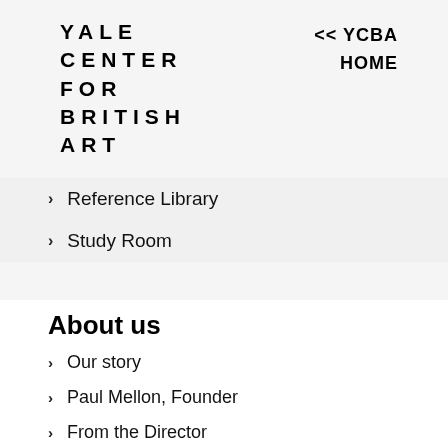YALE CENTER FOR BRITISH ART
<< YCBA HOME
Reference Library
Study Room
About us
Our story
Paul Mellon, Founder
From the Director
Architecture
News and press
Videos